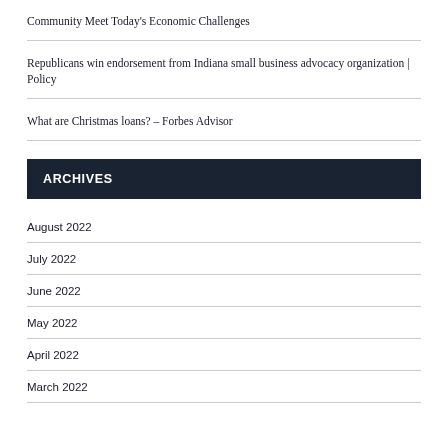Community Meet Today’s Economic Challenges
Republicans win endorsement from Indiana small business advocacy organization | Policy
What are Christmas loans? – Forbes Advisor
ARCHIVES
August 2022
July 2022
June 2022
May 2022
April 2022
March 2022